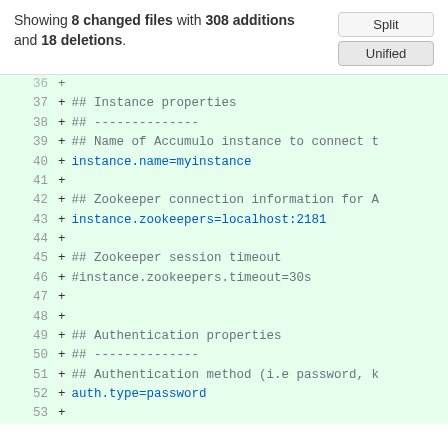Showing 8 changed files with 308 additions and 18 deletions.
[Figure (screenshot): Split/Unified buttons for diff view]
37 + ## Instance properties
38 + ## --------------
39 + ## Name of Accumulo instance to connect t
40 + instance.name=myinstance
41 +
42 + ## Zookeeper connection information for A
43 + instance.zookeepers=localhost:2181
44 +
45 + ## Zookeeper session timeout
46 + #instance.zookeepers.timeout=30s
47 +
48 +
49 + ## Authentication properties
50 + ## --------------
51 + ## Authentication method (i.e password, k
52 + auth.type=password
53 +